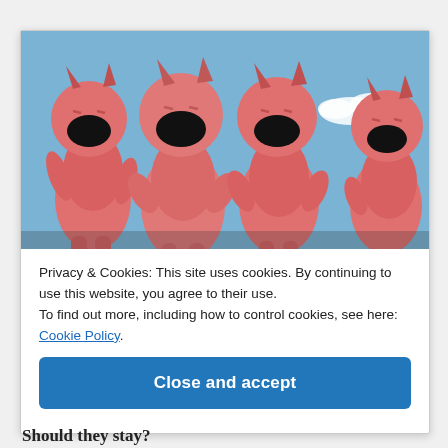[Figure (illustration): Painting of four pink devil-like figures with horns and wide-open laughing mouths, standing against a blue sky with white clouds.]
Privacy & Cookies: This site uses cookies. By continuing to use this website, you agree to their use.
To find out more, including how to control cookies, see here: Cookie Policy.
Close and accept
Should they stay?